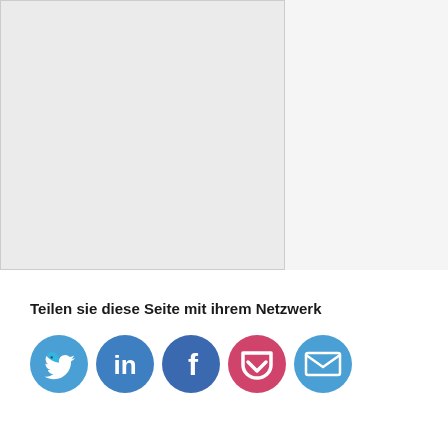[Figure (other): Two empty placeholder panels side by side with light gray backgrounds and a border around the left panel]
Teilen sie diese Seite mit ihrem Netzwerk
[Figure (infographic): Five social media share buttons: Twitter (blue bird), LinkedIn (blue 'in'), Facebook (blue 'f'), Pocket (pink/red checkmark), Email (blue envelope)]